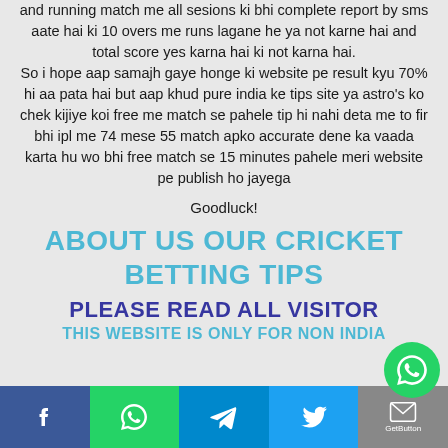and running match me all sesions ki bhi complete report by sms aate hai ki 10 overs me runs lagane he ya not karne hai and total score yes karna hai ki not karna hai. So i hope aap samajh gaye honge ki website pe result kyu 70% hi aa pata hai but aap khud pure india ke tips site ya astro's ko chek kijiye koi free me match se pahele tip hi nahi deta me to fir bhi ipl me 74 mese 55 match apko accurate dene ka vaada karta hu wo bhi free match se 15 minutes pahele meri website pe publish ho jayega
Goodluck!
ABOUT US OUR CRICKET BETTING TIPS
PLEASE READ ALL VISITOR
THIS WEBSITE IS ONLY FOR NON INDIA